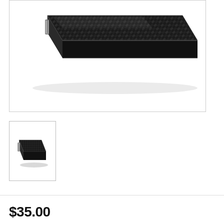[Figure (photo): Large product image of a slim black carbon-fiber patterned external optical drive/hard drive, viewed from a slight angle showing the top surface with diagonal texture pattern and a silver hinge or connector at the left edge.]
[Figure (photo): Small thumbnail image of the same slim black external device, viewed from above at an angle, showing the carbon-fiber texture on top.]
$35.00